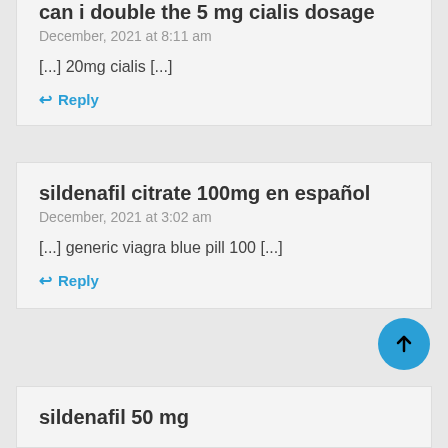can i double the 5 mg cialis dosage
December, 2021 at 8:11 am
[...] 20mg cialis [...]
↩ Reply
sildenafil citrate 100mg en español
December, 2021 at 3:02 am
[...] generic viagra blue pill 100 [...]
↩ Reply
sildenafil 50 mg